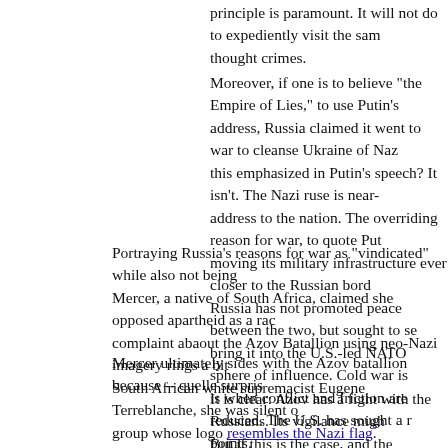principle is paramount. It will not do to expediently visit the same sanctions as thought crimes.
Moreover, if one is to believe "the Empire of Lies," to use Putin's address, Russia claimed it went to war to cleanse Ukraine of Naz this emphasized in Putin's speech? It isn't. The Nazi ruse is near- address to the nation. The overriding reason for war, to quote Put moving its military infrastructure ever closer to the Russian bord Russia has not promoted peace between the two, but sought to se bring it into the U.S.-led NATO sphere of influence. Cold war is is when conflict and friction are reduced. The U.S. has sought a r points.
Portraying Russia's reasons for war as "vindicated" while also not being Mercer, a native of South Africa, claimed she opposed apartheid as a rac complaint abaout the Azov Batallion using neo-Nazi imagery rings a bit South African white supremacist Eugene Terreblanche, she was silent o group whose logo resembles the Nazi flag.
Mercer ultimately sides with the Azov batallion because -- quelle surpris
It is clear: Azov has a fight with the Russians. Its vigilance migh But if this is the case, and the battalion's war doesn't involve ethr invader, I would put it to the reader that we on the dissident right prosecuting thought and speech crimes, and should not be bother and assorted attire, all no more than accoutrements of speech. I d